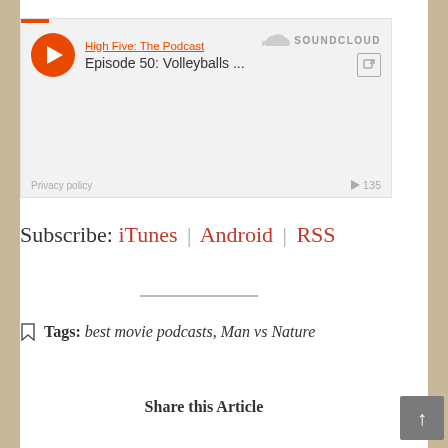[Figure (screenshot): SoundCloud embedded podcast player widget showing 'High Five: The Podcast' - Episode 50: Volleyballs ... with orange play button, SoundCloud logo, share icon, Privacy policy link, and 135 play count.]
Subscribe: iTunes | Android | RSS
Tags: best movie podcasts, Man vs Nature
Share this Article